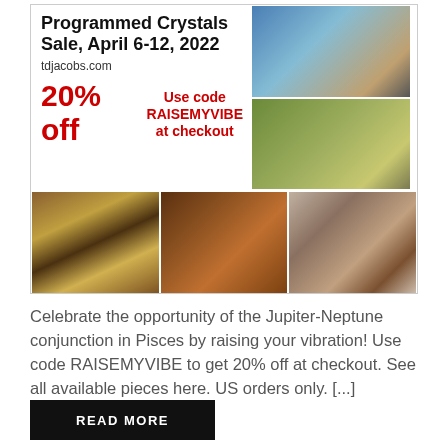[Figure (photo): Advertisement for Programmed Crystals Sale April 6-12, 2022 on tdjacobs.com. Shows 20% off with promo code RAISEMYVIBE at checkout. Contains multiple photos of crystals and gemstones including blue tumbled stones, green stones, tiger-eye slabs, brown tumbled stones, and banded oval stones.]
Celebrate the opportunity of the Jupiter-Neptune conjunction in Pisces by raising your vibration! Use code RAISEMYVIBE to get 20% off at checkout. See all available pieces here. US orders only. [...]
READ MORE